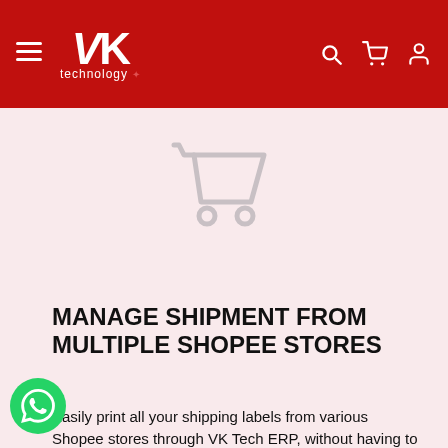VK Technology — navigation header with menu, logo, search, cart, and user icons
[Figure (illustration): Large light-pink/rose background area with a faded gray shopping cart icon centered near the top]
MANAGE SHIPMENT FROM MULTIPLE SHOPEE STORES
Easily print all your shipping labels from various Shopee stores through VK Tech ERP, without having to log in and out of different